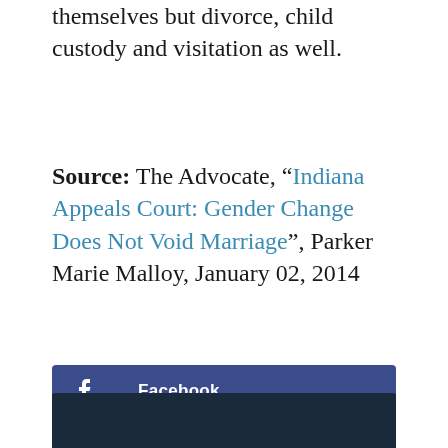themselves but divorce, child custody and visitation as well.
Source: The Advocate, “Indiana Appeals Court: Gender Change Does Not Void Marriage”, Parker Marie Malloy, January 02, 2014
[Figure (infographic): Three social sharing buttons stacked vertically: Facebook (dark blue), Twitter (light blue), LinkedIn (teal blue)]
[Figure (photo): Bottom strip of a dark image, partially visible]